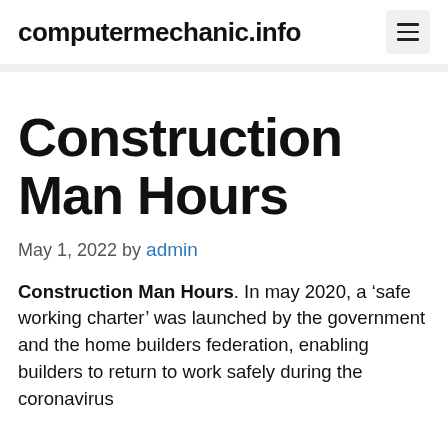computermechanic.info
Construction Man Hours
May 1, 2022 by admin
Construction Man Hours. In may 2020, a ‘safe working charter’ was launched by the government and the home builders federation, enabling builders to return to work safely during the coronavirus